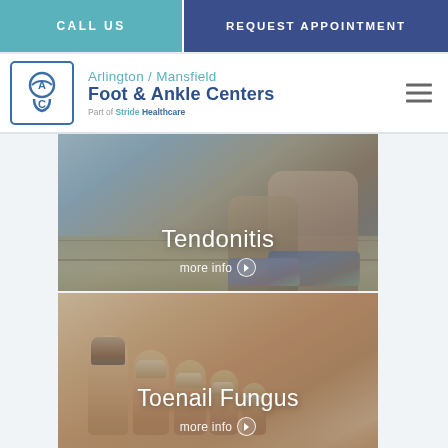CALL US | REQUEST APPOINTMENT
[Figure (logo): Arlington / Mansfield Foot & Ankle Centers logo with circular AC monogram icon. Part of Stride Healthcare.]
Arlington / Mansfield Foot & Ankle Centers
Part of Stride Healthcare
[Figure (photo): Photo of a person's feet and lower legs in athletic shoes, crouching on a wooden surface. Card for Tendonitis with more info link.]
Tendonitis
more info
[Figure (photo): Close-up photo of toes with a toenail fungus condition visible on the big toenail. Card for Toenail Fungus with more info link.]
Toenail Fungus
more info